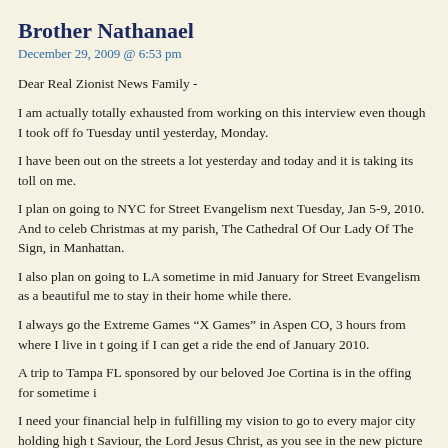Brother Nathanael
December 29, 2009 @ 6:53 pm
Dear Real Zionist News Family -
I am actually totally exhausted from working on this interview even though I took off fo Tuesday until yesterday, Monday.
I have been out on the streets a lot yesterday and today and it is taking its toll on me.
I plan on going to NYC for Street Evangelism next Tuesday, Jan 5-9, 2010. And to celeb Christmas at my parish, The Cathedral Of Our Lady Of The Sign, in Manhattan.
I also plan on going to LA sometime in mid January for Street Evangelism as a beautiful me to stay in their home while there.
I always go the Extreme Games “X Games” in Aspen CO, 3 hours from where I live in t going if I can get a ride the end of January 2010.
A trip to Tampa FL sponsored by our beloved Joe Cortina is in the offing for sometime i
I need your financial help in fulfilling my vision to go to every major city holding high t Saviour, the Lord Jesus Christ, as you see in the new picture of me above.
I also need your financial help in keeping OUR site, Real Zionist News, online.
There Is A Donation Feature Button At The Top & Bottom Of This & Every Real Zionist Click: